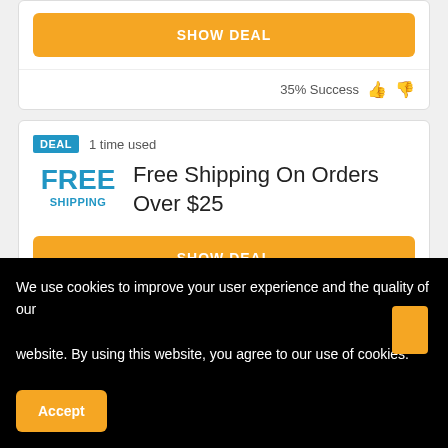SHOW DEAL
35% Success
DEAL  1 time used
FREE SHIPPING
Free Shipping On Orders Over $25
SHOW DEAL
35% Success
We use cookies to improve your user experience and the quality of our website. By using this website, you agree to our use of cookies.
Accept